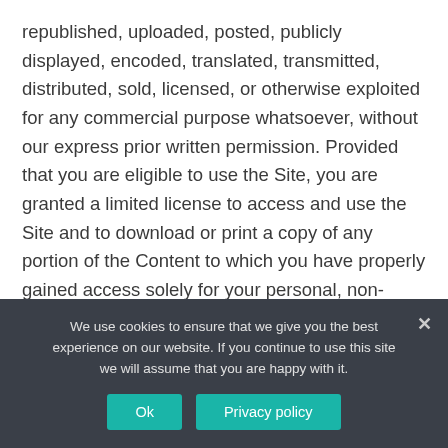republished, uploaded, posted, publicly displayed, encoded, translated, transmitted, distributed, sold, licensed, or otherwise exploited for any commercial purpose whatsoever, without our express prior written permission. Provided that you are eligible to use the Site, you are granted a limited license to access and use the Site and to download or print a copy of any portion of the Content to which you have properly gained access solely for your personal, non-commercial use. We reserve all rights not expressly granted to you in and to the Site, the Content and the Marks.
We use cookies to ensure that we give you the best experience on our website. If you continue to use this site we will assume that you are happy with it.